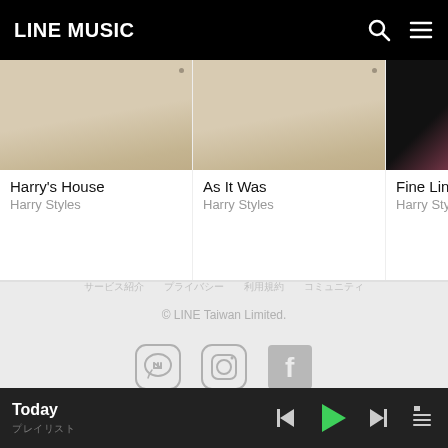LINE MUSIC
[Figure (screenshot): Album card: Harry's House by Harry Styles — beige/tan album cover placeholder]
Harry's House
Harry Styles
[Figure (screenshot): Album card: As It Was by Harry Styles — beige/tan album cover placeholder]
As It Was
Harry Styles
[Figure (screenshot): Album card: Fine Line by Harry Styles — dark album cover with pink partial image]
Fine Line
Harry Styles
サービス紹介　　プライバシー　　利用規約　　コミュニティ
© LINE Taiwan Limited.
[Figure (logo): LINE app icon, Instagram icon, Facebook icon — social media links in gray]
Today / プレイリスト